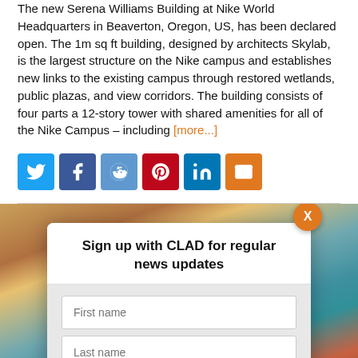The new Serena Williams Building at Nike World Headquarters in Beaverton, Oregon, US, has been declared open. The 1m sq ft building, designed by architects Skylab, is the largest structure on the Nike campus and establishes new links to the existing campus through restored wetlands, public plazas, and view corridors. The building consists of four parts a 12-story tower with shared amenities for all of the Nike Campus – including [more...]
[Figure (infographic): Social media share buttons: Twitter (blue), Facebook (dark blue), Reddit (light blue), Pinterest (red), LinkedIn (blue), Email (orange)]
[Figure (photo): Aerial coastal landscape photo with warm earth tones and turquoise water in background]
Sign up with CLAD for regular news updates
First name input field, Last name input field, Email input field, SIGN UP button